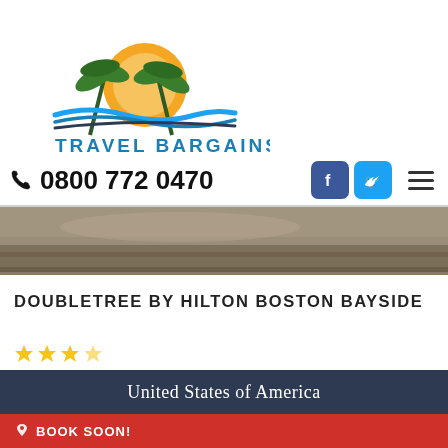[Figure (logo): Travel Bargains logo with palm trees, sun and wave, with text TRAVEL BARGAINS in blue]
0800 772 0470
[Figure (photo): Aerial desert/landscape photo used as hero banner]
DOUBLETREE BY HILTON BOSTON BAYSIDE
[Figure (infographic): Star rating: 3.5 stars shown in yellow]
United States of America
BOOK SOON!
[Figure (photo): Aerial city skyline photo, Las Vegas or similar US city]